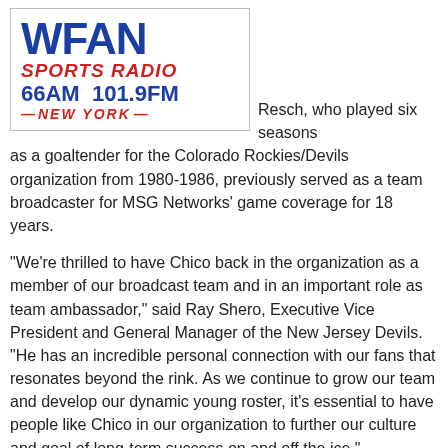[Figure (logo): WFAN Sports Radio 66AM 101.9FM New York logo]
Resch, who played six seasons as a goaltender for the Colorado Rockies/Devils organization from 1980-1986, previously served as a team broadcaster for MSG Networks' game coverage for 18 years.
“We’re thrilled to have Chico back in the organization as a member of our broadcast team and in an important role as team ambassador,” said Ray Shero, Executive Vice President and General Manager of the New Jersey Devils. “He has an incredible personal connection with our fans that resonates beyond the rink. As we continue to grow our team and develop our dynamic young roster, it’s essential to have people like Chico in our organization to further our culture and goal of long-term success on and off the ice.”
[Figure (logo): New Jersey Devils logo - partial view at bottom of page]